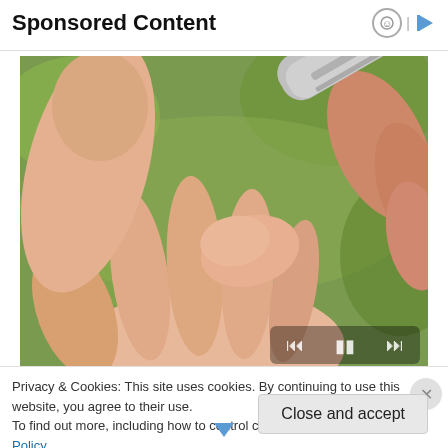Sponsored Content
[Figure (photo): Close-up photo of a blood glucose lancet device being pressed against a fingertip of an outstretched hand, with green blurred background outdoors. Media control buttons (skip back, pause, skip forward) visible at bottom right of image.]
Privacy & Cookies: This site uses cookies. By continuing to use this website, you agree to their use.
To find out more, including how to control cookies, see here: Cookie Policy
Close and accept